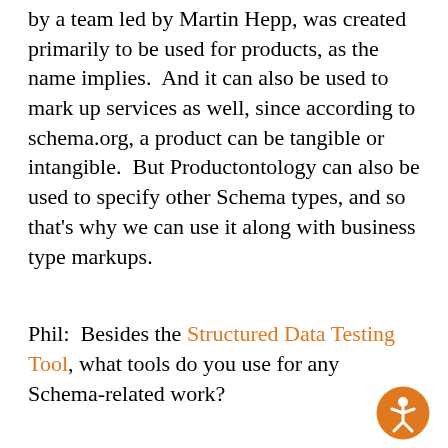by a team led by Martin Hepp, was created primarily to be used for products, as the name implies.  And it can also be used to mark up services as well, since according to schema.org, a product can be tangible or intangible.  But Productontology can also be used to specify other Schema types, and so that's why we can use it along with business type markups.
Phil:  Besides the Structured Data Testing Tool, what tools do you use for any Schema-related work?